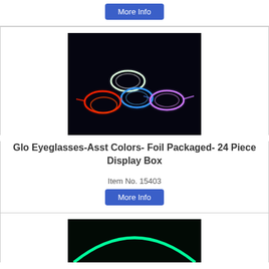[Figure (other): Button labeled More Info with blue background, partial top product section]
[Figure (photo): Glow-in-the-dark eyeglasses in assorted neon colors (red, green, blue, purple, white) on a black background]
Glo Eyeglasses-Asst Colors- Foil Packaged- 24 Piece Display Box
Item No. 15403
[Figure (other): More Info button]
[Figure (photo): Partial image of a glowing green necklace/bracelet on black background, bottom of page]